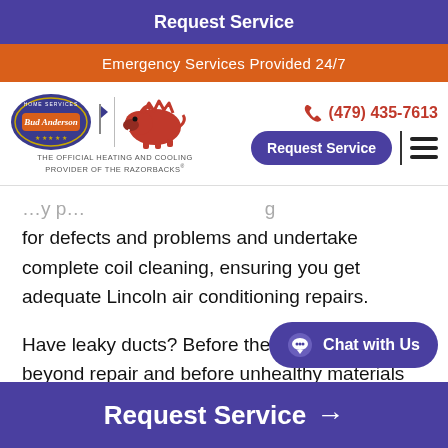Request Service
Emergency Services Provided 24/7
[Figure (logo): Bud Anderson Home Services logo with Razorbacks mascot and tagline: THE OFFICIAL HEATING AND COOLING PROVIDER OF THE RAZORBACKS®]
(479) 435-7613
Request Service
for defects and problems and undertake complete coil cleaning, ensuring you get adequate Lincoln air conditioning repairs.
Have leaky ducts? Before the situation goes beyond repair and before unhealthy materials infiltra[te and] affect your indoor air quality, have a qualified technician
Chat with Us
Request Service →